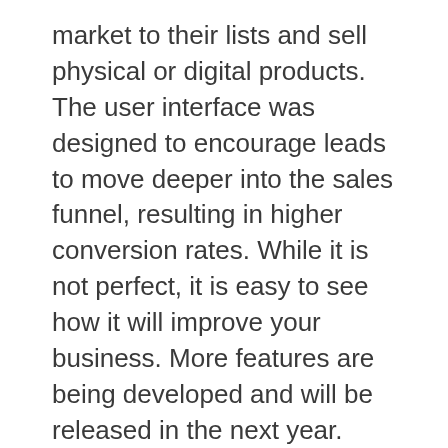market to their lists and sell physical or digital products. The user interface was designed to encourage leads to move deeper into the sales funnel, resulting in higher conversion rates. While it is not perfect, it is easy to see how it will improve your business. More features are being developed and will be released in the next year. However, specific features are not yet scheduled for release.
GrooveFunnels, although still in its infancy, already has a lot of features. The first is the affiliate program, which allows you to build your downline. You can also create calls to action for paid webinars. Another great feature of GrooveFunnels is the ability to create memberships for almost any type of